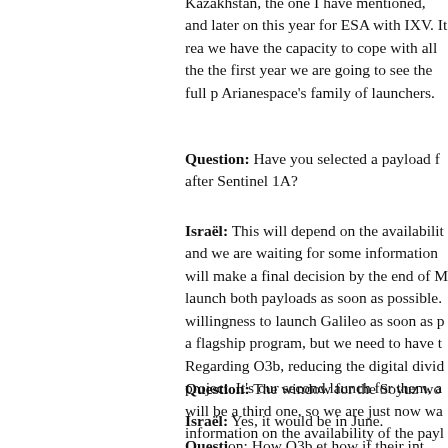Kazakhstan, the one I have mentioned, and later on this year for ESA with IXV. It really means we have the capacity to cope with all the demand and the first year we are going to see the full potential of Arianespace's family of launchers.
Question: Have you selected a payload for the Soyuz after Sentinel 1A?
Israël: This will depend on the availability of payloads and we are waiting for some information from clients. We will make a final decision by the end of May. We want to launch both payloads as soon as possible. We expressed our willingness to launch Galileo as soon as possible, this is a flagship program, but we need to have the payloads ready. Regarding O3b, reducing the digital divide is a worthy project. It's our second launch for them, and there will be a third one, so we are just now waiting for the information on the availability of the payloads to make a decision to launch both as soon as possible.
Question: The window for the Soyuz wo...
Israël: Yes, it would be in June.
Question: How O3b et how if their int...